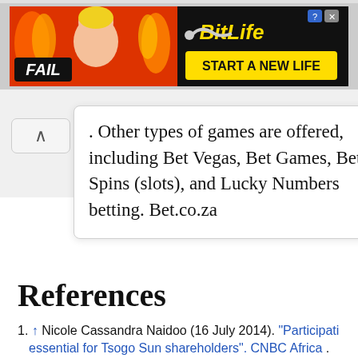[Figure (screenshot): BitLife advertisement banner with 'FAIL' badge, animated character, and 'START A NEW LIFE' call to action on dark background]
. Other types of games are offered, including Bet Vegas, Bet Games, Bet Spins (slots), and Lucky Numbers betting. Bet.co.za
References
↑ Nicole Cassandra Naidoo (16 July 2014). "Participati... essential for Tsogo Sun shareholders". CNBC Africa . Retrieved 26 November 2014.
↑ "Rebounding Tsogo Sun Hotels in big rebrand back...